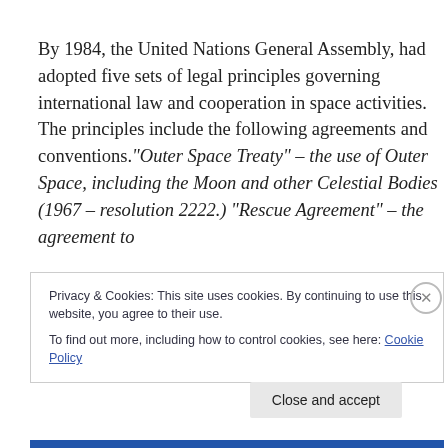By 1984, the United Nations General Assembly, had adopted five sets of legal principles governing international law and cooperation in space activities. The principles include the following agreements and conventions."Outer Space Treaty" – the use of Outer Space, including the Moon and other Celestial Bodies (1967 – resolution 2222.) "Rescue Agreement" – the agreement to
Privacy & Cookies: This site uses cookies. By continuing to use this website, you agree to their use.
To find out more, including how to control cookies, see here: Cookie Policy
Close and accept